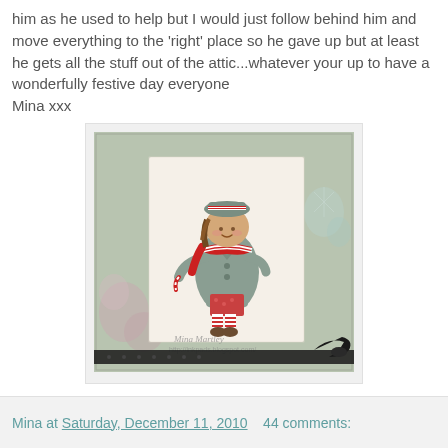him as he used to help but I would just follow behind him and move everything to the 'right' place so he gave up but at least he gets all the stuff out of the attic...whatever your up to have a wonderfully festive day everyone
Mina xxx
[Figure (photo): A handmade greeting card featuring an illustrated girl wearing a winter coat, red and white striped scarf and hat, displayed on a decorative background with floral patterns and a black ribbon bow.]
Mina at Saturday, December 11, 2010   44 comments: